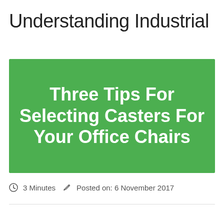Understanding Industrial
Three Tips For Selecting Casters For Your Office Chairs
3 Minutes  Posted on: 6 November 2017